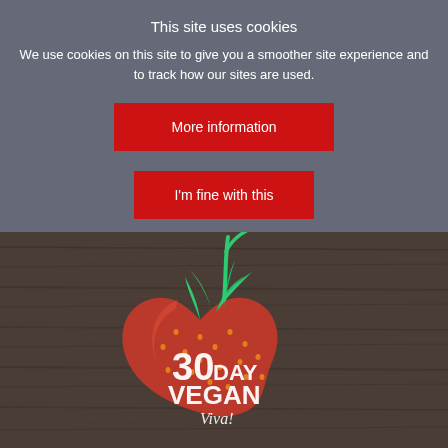This site uses cookies
We use cookies on this site to give you a smoother site experience and to track how our sites are used.
More information
I'm fine with this
[Figure (photo): Heart-shaped strawberry on a dark wooden board with white text reading '30 DAY VEGAN Viva!' overlaid on the strawberry]